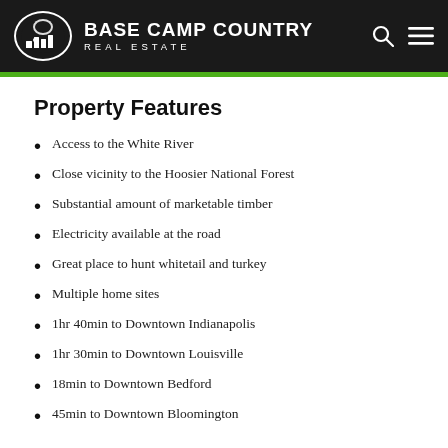BASE CAMP COUNTRY REAL ESTATE
Property Features
Access to the White River
Close vicinity to the Hoosier National Forest
Substantial amount of marketable timber
Electricity available at the road
Great place to hunt whitetail and turkey
Multiple home sites
1hr 40min to Downtown Indianapolis
1hr 30min to Downtown Louisville
18min to Downtown Bedford
45min to Downtown Bloomington